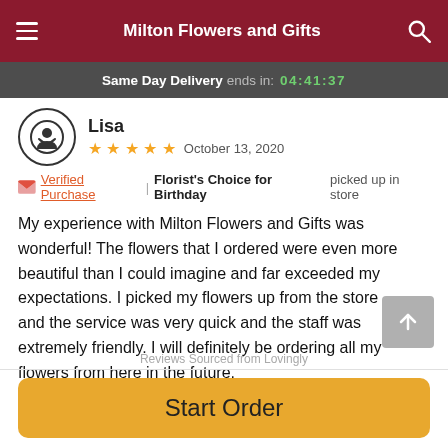Milton Flowers and Gifts
Same Day Delivery ends in: 04:41:37
Lisa
★★★★★ October 13, 2020
🌸 Verified Purchase | Florist's Choice for Birthday picked up in store
My experience with Milton Flowers and Gifts was wonderful! The flowers that I ordered were even more beautiful than I could imagine and far exceeded my expectations. I picked my flowers up from the store and the service was very quick and the staff was extremely friendly. I will definitely be ordering all my flowers from here in the future.
Reviews Sourced from Lovingly
Start Order